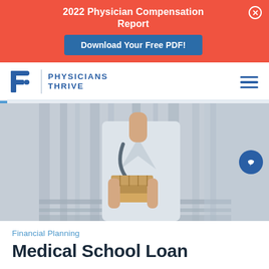2022 Physician Compensation Report
Download Your Free PDF!
[Figure (logo): Physicians Thrive logo with stylized P icon and text]
[Figure (photo): Physician in white coat holding books, stethoscope visible, standing in a bright hallway]
Financial Planning
Medical School Loan